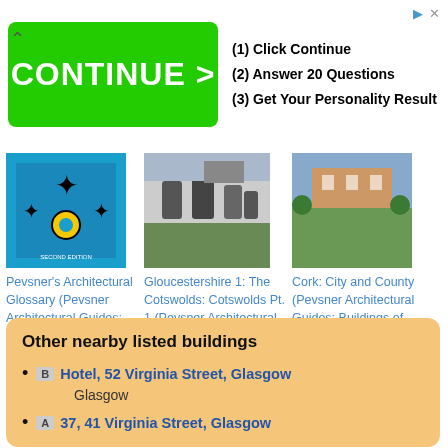[Figure (infographic): Advertisement banner with green CONTINUE > button and steps: (1) Click Continue, (2) Answer 20 Questions, (3) Get Your Personality Result]
[Figure (photo): Book cover: Pevsner's Architectural Glossary (Pevsner Architectural Guides: Introductions) - blue cover with cross pattern]
Pevsner's Architectural Glossary (Pevsner Architectural Guides: Introductions)
[Figure (photo): Book cover: Gloucestershire 1: The Cotswolds - photo of gravestones]
Gloucestershire 1: The Cotswolds: Cotswolds Pt. 1 (Pevsner Architectural Guides: Buildings of England)
[Figure (photo): Book cover: Cork: City and County - photo of building with trees]
Cork: City and County (Pevsner Architectural Guides: Buildings of Ireland)
Other nearby listed buildings
B Hotel, 52 Virginia Street, Glasgow
Glasgow
A 37, 41 Virginia Street, Glasgow